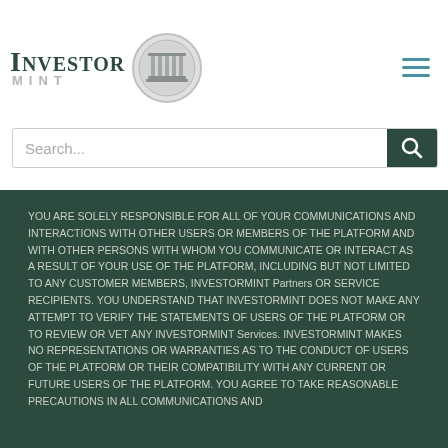[Figure (logo): InvestorMint logo with text and coin/building graphic]
[Figure (other): Hamburger menu icon (three horizontal blue lines)]
Search...
YOU ARE SOLELY RESPONSIBLE FOR ALL OF YOUR COMMUNICATIONS AND INTERACTIONS WITH OTHER USERS OR MEMBERS OF THE PLATFORM AND WITH OTHER PERSONS WITH WHOM YOU COMMUNICATE OR INTERACT AS A RESULT OF YOUR USE OF THE PLATFORM, INCLUDING BUT NOT LIMITED TO ANY CUSTOMER MEMBERS, INVESTORMINT Partners OR SERVICE RECIPIENTS. YOU UNDERSTAND THAT INVESTORMINT DOES NOT MAKE ANY ATTEMPT TO VERIFY THE STATEMENTS OF USERS OF THE PLATFORM OR TO REVIEW OR VET ANY INVESTORMINT Services. INVESTORMINT MAKES NO REPRESENTATIONS OR WARRANTIES AS TO THE CONDUCT OF USERS OF THE PLATFORM OR THEIR COMPATIBILITY WITH ANY CURRENT OR FUTURE USERS OF THE PLATFORM. YOU AGREE TO TAKE REASONABLE PRECAUTIONS IN ALL COMMUNICATIONS AND